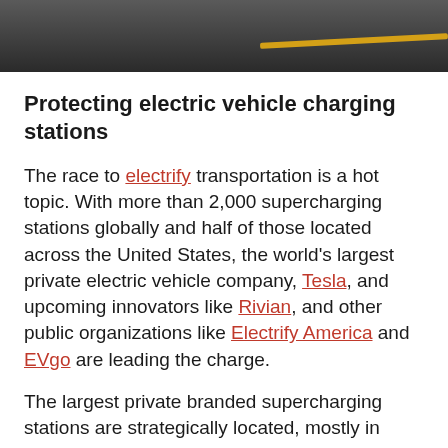[Figure (photo): Aerial or close-up view of a dark road surface with a yellow dividing line visible in the upper right area]
Protecting electric vehicle charging stations
The race to electrify transportation is a hot topic. With more than 2,000 supercharging stations globally and half of those located across the United States, the world's largest private electric vehicle company, Tesla, and upcoming innovators like Rivian, and other public organizations like Electrify America and EVgo are leading the charge.
The largest private branded supercharging stations are strategically located, mostly in